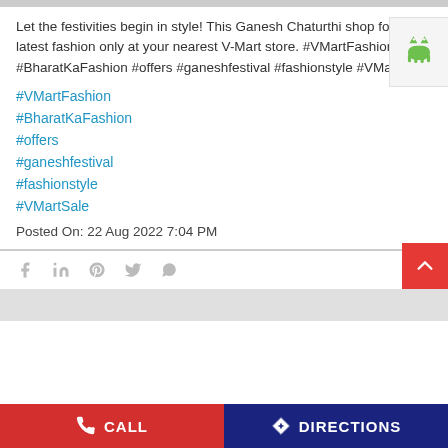Let the festivities begin in style! This Ganesh Chaturthi shop for the latest fashion only at your nearest V-Mart store. #VMartFashion #BharatKaFashion #offers #ganeshfestival #fashionstyle #VMartSale
#VMartFashion
#BharatKaFashion
#offers
#ganeshfestival
#fashionstyle
#VMartSale
Posted On: 22 Aug 2022 7:04 PM
[Figure (infographic): Social share icons: Facebook, LinkedIn, Pinterest, Twitter, WhatsApp]
[Figure (logo): Android robot icon badge on right side]
[Figure (infographic): Scroll to top button (red background with white chevron up arrow)]
CALL   DIRECTIONS